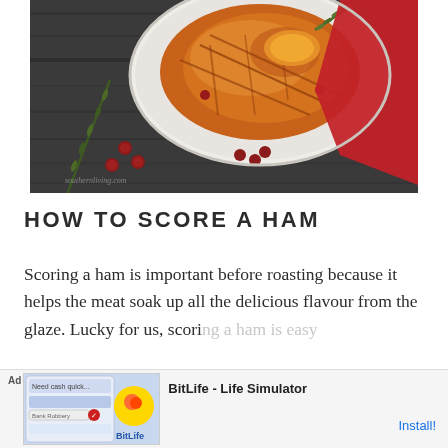[Figure (photo): Overhead view of a glazed ham in a white bowl with rosemary sprigs and cranberries on a dark wooden surface with a red fabric napkin in the corner]
HOW TO SCORE A HAM
Scoring a ham is important before roasting because it helps the meat soak up all the delicious flavour from the glaze. Lucky for us, scoring a ham is easy...
[Figure (other): Advertisement banner for BitLife - Life Simulator app with Install button]